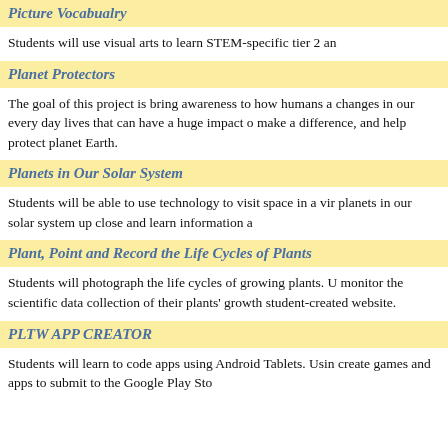Picture Vocabualry
Students will use visual arts to learn STEM-specific tier 2 an
Planet Protectors
The goal of this project is bring awareness to how humans a changes in our every day lives that can have a huge impact o make a difference, and help protect planet Earth.
Planets in Our Solar System
Students will be able to use technology to visit space in a vir planets in our solar system up close and learn information a
Plant, Point and Record the Life Cycles of Plants
Students will photograph the life cycles of growing plants. U monitor the scientific data collection of their plants' growth student-created website.
PLTW APP CREATOR
Students will learn to code apps using Android Tablets. Usin create games and apps to submit to the Google Play Sto...